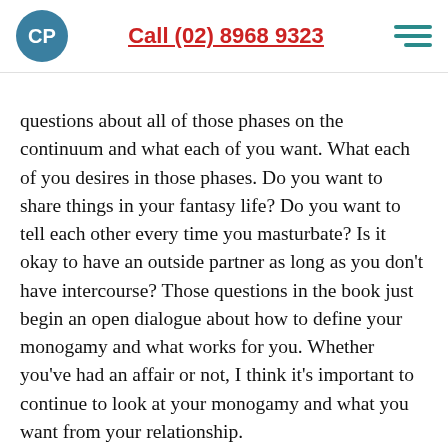CP | Call (02) 8968 9323
questions about all of those phases on the continuum and what each of you want. What each of you desires in those phases. Do you want to share things in your fantasy life? Do you want to tell each other every time you masturbate? Is it okay to have an outside partner as long as you don't have intercourse? Those questions in the book just begin an open dialogue about how to define your monogamy and what works for you. Whether you've had an affair or not, I think it's important to continue to look at your monogamy and what you want from your relationship.